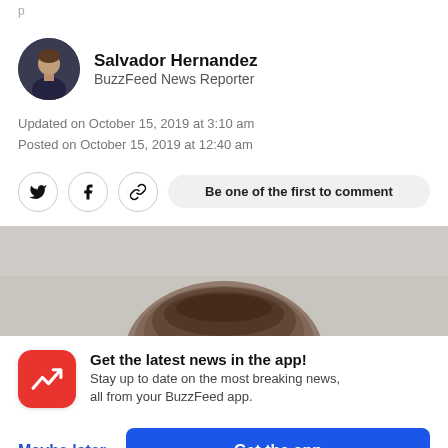[Figure (photo): Circular author headshot of Salvador Hernandez, a man in a dark shirt against a dark background]
Salvador Hernandez
BuzzFeed News Reporter
Updated on October 15, 2019 at 3:10 am
Posted on October 15, 2019 at 12:40 am
Be one of the first to comment
[Figure (photo): Top of a person's head with brown hair, blurred/cropped, against a grey background]
[Figure (logo): BuzzFeed app icon - red circle with white trending arrow logo]
Get the latest news in the app! Stay up to date on the most breaking news, all from your BuzzFeed app.
Maybe later
Get the app